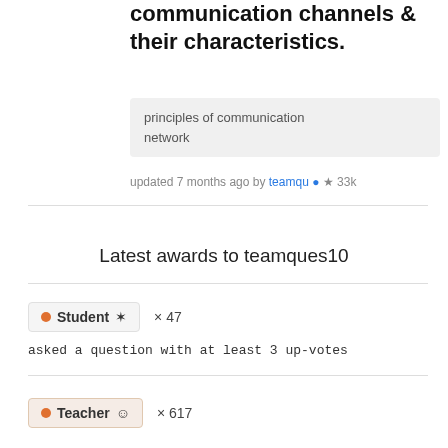communication channels & their characteristics.
principles of communication network
updated 7 months ago by teamqu ✔ ★ 33k
Latest awards to teamques10
• Student ✦ × 47
asked a question with at least 3 up-votes
• Teacher ☺ × 617